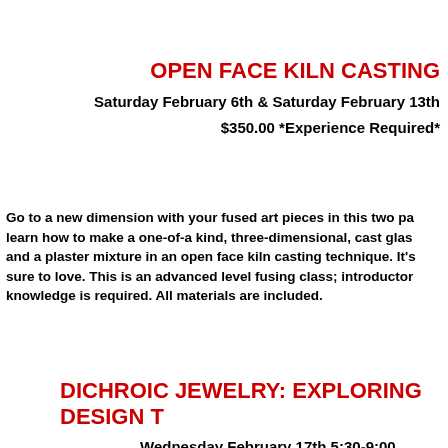OPEN FACE KILN CASTING
Saturday February 6th & Saturday February 13th
$350.00 *Experience Required*
Go to a new dimension with your fused art pieces in this two part class and learn how to make a one-of-a kind, three-dimensional, cast glass piece using silica sand and a plaster mixture in an open face kiln casting technique. It's a two part class that you're sure to love. This is an advanced level fusing class; introductory kiln casting knowledge is required. All materials are included.
DICHROIC JEWELRY: EXPLORING DESIGN T
Wednesday February 17th 5:00-9:00